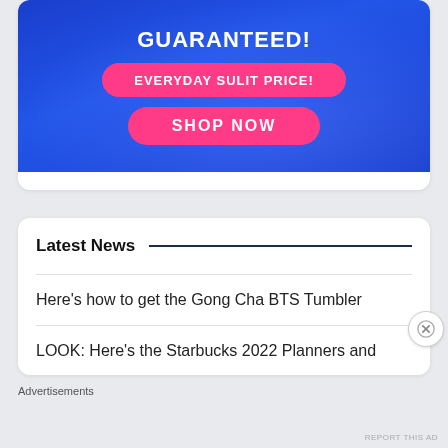[Figure (screenshot): Advertisement banner with blue gradient background showing 'GUARANTEED!', 'EVERYDAY SULIT PRICE!' pink pill button, and 'SHOP NOW' pink pill button]
Latest News
Here's how to get the Gong Cha BTS Tumbler
LOOK: Here's the Starbucks 2022 Planners and
Advertisements
REPORT THIS AD